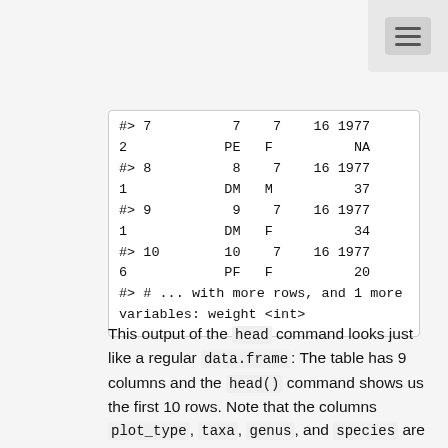[Figure (screenshot): Navigation bar with hamburger menu icon in top right corner]
#> 7          7    7    16 1977
2            PE   F          NA
#> 8          8    7    16 1977
1            DM   M          37
#> 9          9    7    16 1977
1            DM   F          34
#> 10        10    7    16 1977
6            PF   F          20
#> # ... with more rows, and 1 more
variables: weight <int>
This output of the head command looks just like a regular data.frame: The table has 9 columns and the head() command shows us the first 10 rows. Note that the columns plot_type, taxa, genus, and species are missing. These are now located in the tables plots and species, which we will join